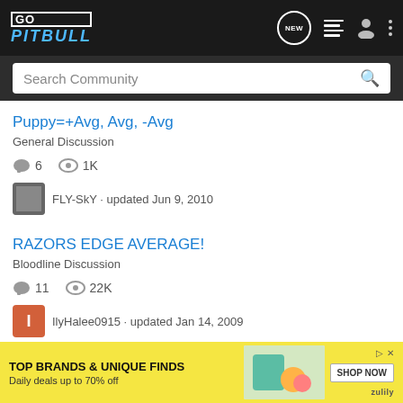GoPitbull - Search Community
Puppy=+Avg, Avg, -Avg
General Discussion
6 comments · 1K views
FLY-SkY · updated Jun 9, 2010
RAZORS EDGE AVERAGE!
Bloodline Discussion
11 comments · 22K views
IlyHalee0915 · updated Jan 14, 2009
how bi
Genera
[Figure (infographic): Advertisement banner: TOP BRANDS & UNIQUE FINDS - Daily deals up to 70% off - SHOP NOW - Zulily]